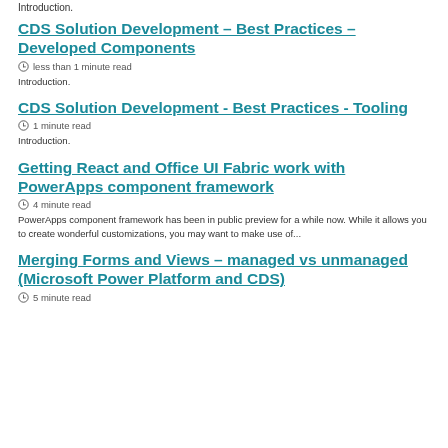Introduction.
CDS Solution Development – Best Practices – Developed Components
less than 1 minute read
Introduction.
CDS Solution Development - Best Practices - Tooling
1 minute read
Introduction.
Getting React and Office UI Fabric work with PowerApps component framework
4 minute read
PowerApps component framework has been in public preview for a while now. While it allows you to create wonderful customizations, you may want to make use of...
Merging Forms and Views – managed vs unmanaged (Microsoft Power Platform and CDS)
5 minute read